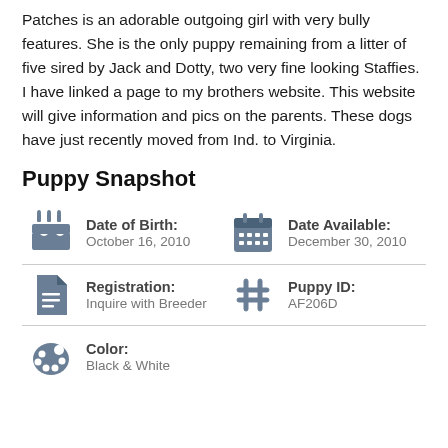Patches is an adorable outgoing girl with very bully features.  She is the only puppy remaining from a litter of five sired by Jack and Dotty, two very fine looking Staffies.  I have linked a page to my brothers website.  This website will give information and pics on the parents.  These dogs have just recently moved from Ind. to Virginia.
Puppy Snapshot
Date of Birth: October 16, 2010
Date Available: December 30, 2010
Registration: Inquire with Breeder
Puppy ID: AF206D
Color: Black & White